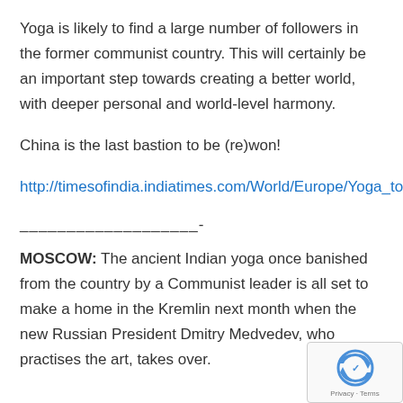Yoga is likely to find a large number of followers in the former communist country. This will certainly be an important step towards creating a better world, with deeper personal and world-level harmony.
China is the last bastion to be (re)won!
http://timesofindia.indiatimes.com/World/Europe/Yoga_to_replace_judo_in_Kremlin_gym/articleshow/2966555.cms
___________________-
MOSCOW: The ancient Indian yoga once banished from the country by a Communist leader is all set to make a home in the Kremlin next month when the new Russian President Dmitry Medvedev, who practises the art, takes over.